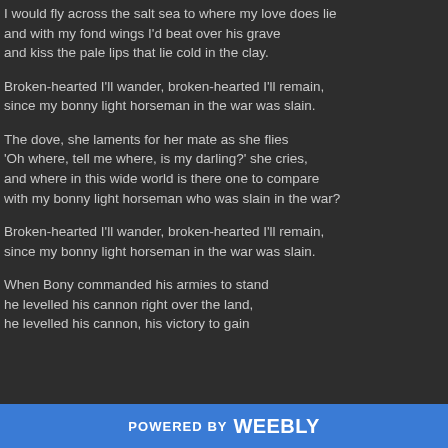I would fly across the salt sea to where my love does lie
and with my fond wings I'd beat over his grave
and kiss the pale lips that lie cold in the clay.
Broken-hearted I'll wander, broken-hearted I'll remain,
since my bonny light horseman in the war was slain.
The dove, she laments for her mate as she flies
'Oh where, tell me where, is my darling?' she cries,
and where in this wide world is there one to compare
with my bonny light horseman who was slain in the war?
Broken-hearted I'll wander, broken-hearted I'll remain,
since my bonny light horseman in the war was slain.
When Bony commanded his armies to stand
he levelled his cannon right over the land,
he levelled his cannon, his victory to gain
POWERED BY weebly